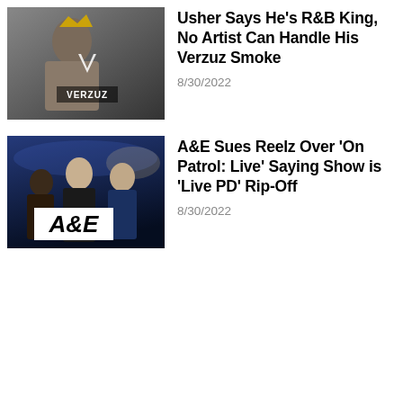[Figure (photo): Thumbnail image of a man wearing a crown with the Verzuz logo overlay]
Usher Says He's R&B King, No Artist Can Handle His Verzuz Smoke
8/30/2022
[Figure (photo): Thumbnail image of three men posing with the A&E logo in the foreground]
A&E Sues Reelz Over 'On Patrol: Live' Saying Show is 'Live PD' Rip-Off
8/30/2022